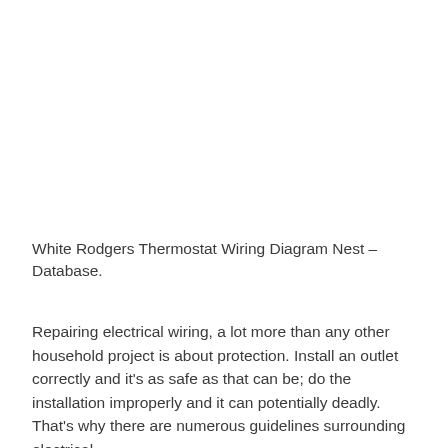White Rodgers Thermostat Wiring Diagram Nest – Database.
Repairing electrical wiring, a lot more than any other household project is about protection. Install an outlet correctly and it's as safe as that can be; do the installation improperly and it can potentially deadly. That's why there are numerous guidelines surrounding electrical